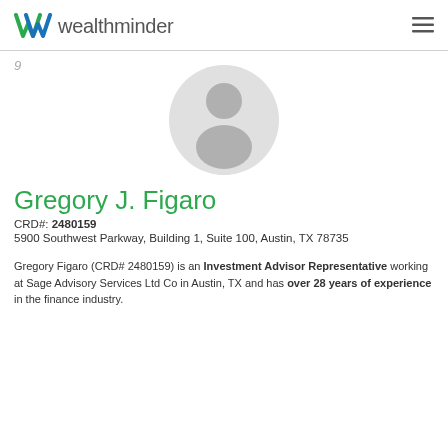wealthminder
9
[Figure (photo): Default avatar placeholder photo — circular grey silhouette of a person]
Gregory J. Figaro
CRD#: 2480159
5900 Southwest Parkway, Building 1, Suite 100, Austin, TX 78735
Gregory Figaro (CRD# 2480159) is an Investment Advisor Representative working at Sage Advisory Services Ltd Co in Austin, TX and has over 28 years of experience in the finance industry.